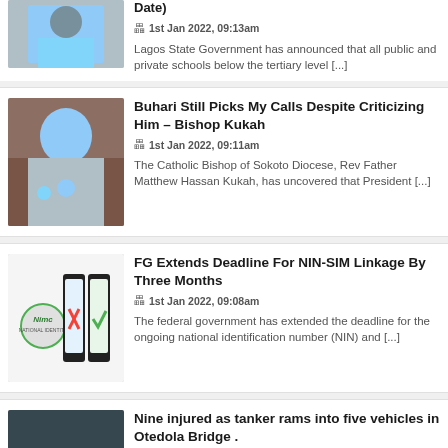[Figure (photo): Partial photo of a person in blue clothing at top of page]
Date)
1st Jan 2022, 09:13am
Lagos State Government has announced that all public and private schools below the tertiary level [...]
[Figure (photo): Photo of President Buhari in blue attire, talking on phone]
Buhari Still Picks My Calls Despite Criticizing Him – Bishop Kukah
1st Jan 2022, 09:11am
The Catholic Bishop of Sokoto Diocese, Rev Father Matthew Hassan Kukah, has uncovered that President [...]
[Figure (photo): Photo showing NIMC logo and mobile phones with NIN-SIM linkage graphics]
FG Extends Deadline For NIN-SIM Linkage By Three Months
1st Jan 2022, 09:08am
The federal government has extended the deadline for the ongoing national identification number (NIN) and [...]
[Figure (photo): Photo of a tanker accident at Otedola Bridge, vehicles damaged]
Nine injured as tanker rams into five vehicles in Otedola Bridge .
1st Jan 2022, 09:03am
Nine persons were reportedly inj#red when a tanker rammed into five vehicles at [...]
[Figure (photo): Partial photo of President Buhari in cap at bottom of page]
Pres. Buhari signs 2022 Appropriations Bill of N17.127 trillion